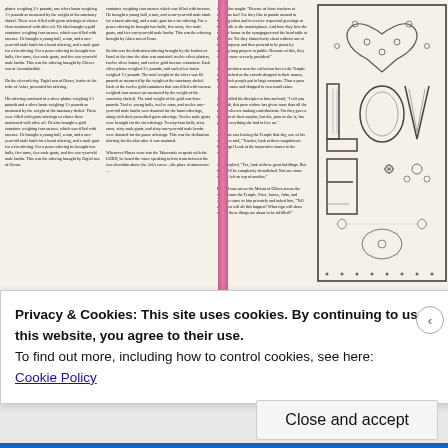[Figure (photo): Open Bible page spread showing several columns of small text from what appears to be the New Living Translation, with a decorative ornamental 'LOVE' design in the right margin featuring heart and floral patterns in a zentangle/doodle art style. The Bible has a pink/magenta spine and is photographed on a light wooden surface.]
Privacy & Cookies: This site uses cookies. By continuing to use this website, you agree to their use.
To find out more, including how to control cookies, see here:
Cookie Policy
Close and accept